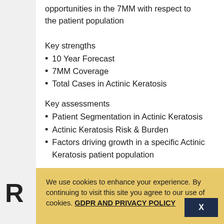opportunities in the 7MM with respect to the patient population
Key strengths
10 Year Forecast
7MM Coverage
Total Cases in Actinic Keratosis
Key assessments
Patient Segmentation in Actinic Keratosis
Actinic Keratosis Risk & Burden
Factors driving growth in a specific Actinic Keratosis patient population
R
We use cookies to enhance your experience. By continuing to visit this site you agree to our use of cookies. GDPR AND PRIVACY POLICY